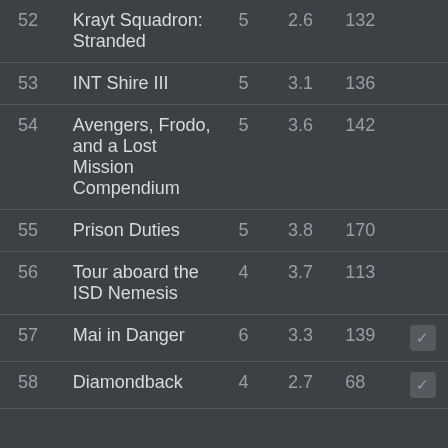| # | Title | Col3 | Rating | Pages | Check |
| --- | --- | --- | --- | --- | --- |
| 52 | Krayt Squadron: Stranded | 5 | 2.6 | 132 |  |
| 53 | INT Shire III | 5 | 3.1 | 136 |  |
| 54 | Avengers, Frodo, and a Lost Mission Compendium | 5 | 3.6 | 142 |  |
| 55 | Prison Duties | 5 | 3.8 | 170 |  |
| 56 | Tour aboard the ISD Nemesis | 4 | 3.7 | 113 |  |
| 57 | Mai in Danger | 6 | 3.3 | 139 | ✓ |
| 58 | Diamondback | 4 | 2.7 | 68 | ✓ |